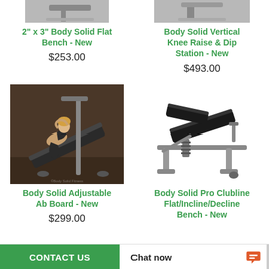[Figure (photo): Partial top image of 2x3 Body Solid Flat Bench, cropped at top]
2" x 3" Body Solid Flat Bench - New
$253.00
[Figure (photo): Partial top image of Body Solid Vertical Knee Raise & Dip Station, cropped at top]
Body Solid Vertical Knee Raise & Dip Station - New
$493.00
[Figure (photo): Woman doing ab exercises on Body Solid Adjustable Ab Board]
Body Solid Adjustable Ab Board - New
$299.00
[Figure (photo): Body Solid Pro Clubline Flat/Incline/Decline Bench shown at angle]
Body Solid Pro Clubline Flat/Incline/Decline Bench - New
CONTACT US   Chat now